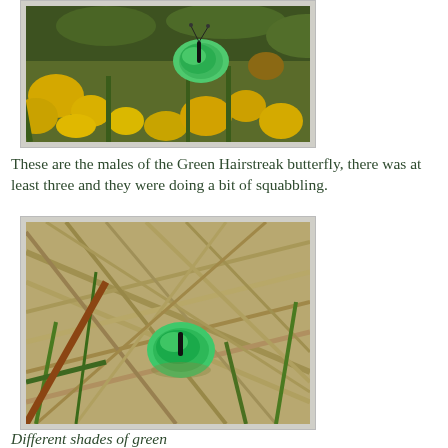[Figure (photo): A green hairstreak butterfly resting on yellow gorse flowers, viewed from above showing bright green wings.]
These are the males of the Green Hairstreak butterfly, there was at least three and they were doing a bit of squabbling.
[Figure (photo): A green hairstreak butterfly resting on dry grass and straw, showing brilliant green coloring against the brown background.]
Different shades of green